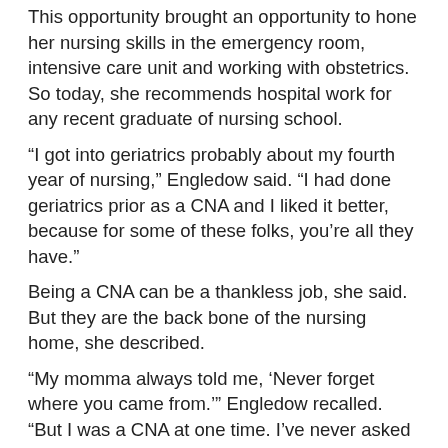This opportunity brought an opportunity to hone her nursing skills in the emergency room, intensive care unit and working with obstetrics. So today, she recommends hospital work for any recent graduate of nursing school.
“I got into geriatrics probably about my fourth year of nursing,” Engledow said. “I had done geriatrics prior as a CNA and I liked it better, because for some of these folks, you’re all they have.”
Being a CNA can be a thankless job, she said. But they are the back bone of the nursing home, she described.
“My momma always told me, ‘Never forget where you came from.’” Engledow recalled. “But I was a CNA at one time. I’ve never asked anybody to do anything I have not, could not or would not do.”
She was an experienced wound care nurse before accepting the role at HCR ManorCare. While some people tell her they would find wound care “gross”, Engledow tells them it’s exciting. It’s nice for her when someone arrives at the nursing